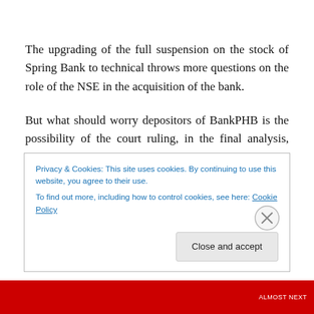The upgrading of the full suspension on the stock of Spring Bank to technical throws more questions on the role of the NSE in the acquisition of the bank.
But what should worry depositors of BankPHB is the possibility of the court ruling, in the final analysis, against the acquisition of Spring Bank essentially as a result of the doubtful status of the shares so acquired. When that happens, it means that about N40billion of BankPHB's
Privacy & Cookies: This site uses cookies. By continuing to use this website, you agree to their use.
To find out more, including how to control cookies, see here: Cookie Policy